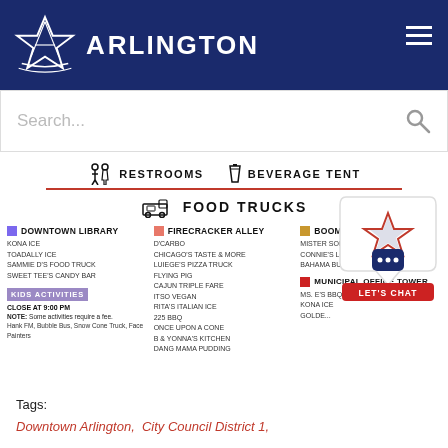[Figure (logo): Arlington city logo with star icon and 'ARLINGTON' text on dark blue header bar]
[Figure (screenshot): Search bar with placeholder text 'Search...' and magnifying glass icon]
RESTROOMS   BEVERAGE TENT
FOOD TRUCKS
DOWNTOWN LIBRARY
KONA ICE
TOADALLY ICE
SAMMIE D'S FOOD TRUCK
SWEET TEE'S CANDY BAR
KIDS ACTIVITIES
CLOSE AT 9:00 PM
NOTE: Some activities require a fee.
Hank FM, Bubble Bus, Snow Cone Truck, Face Painters
FIRECRACKER ALLEY
D'CARBO
CHICAGO'S TASTE & MORE
LUIEGE'S PIZZA TRUCK
FLYING PIG
CAJUN TRIPLE FARE
ITSO VEGAN
RITA'S ITALIAN ICE
225 BBQ
ONCE UPON A CONE
B & YONNA'S KITCHEN
DANG MAMA PUDDING
BOOMTOWN
MISTER SOFTEE
CONNIE'S LOUISIANA KITCHEN
BAHAMA BUCKS
MUNICIPAL OFFICE TOWER
MS. E'S BBQ
KONA ICE
GOLDE...
Tags:
Downtown Arlington,  City Council District 1,